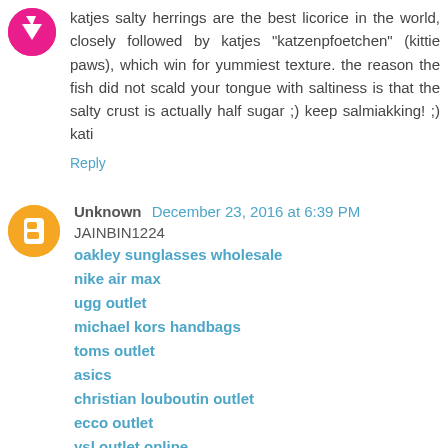katjes salty herrings are the best licorice in the world, closely followed by katjes "katzenpfoetchen" (kittie paws), which win for yummiest texture. the reason the fish did not scald your tongue with saltiness is that the salty crust is actually half sugar ;) keep salmiakking! ;) kati
Reply
Unknown  December 23, 2016 at 6:39 PM
JAINBIN1224
oakley sunglasses wholesale
nike air max
ugg outlet
michael kors handbags
toms outlet
asics
christian louboutin outlet
ecco outlet
ysl outlet online
marc jacobs sale
Reply